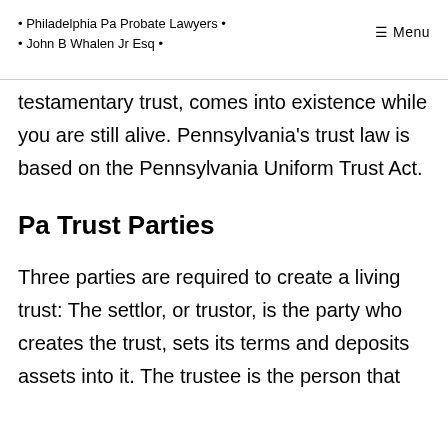• Philadelphia Pa Probate Lawyers • • John B Whalen Jr Esq • ≡ Menu
testamentary trust, comes into existence while you are still alive. Pennsylvania's trust law is based on the Pennsylvania Uniform Trust Act.
Pa Trust Parties
Three parties are required to create a living trust: The settlor, or trustor, is the party who creates the trust, sets its terms and deposits assets into it. The trustee is the person that